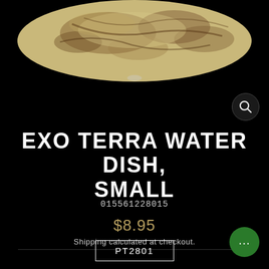[Figure (photo): Close-up photo of an Exo Terra water dish product against a black background, showing the textured rock-like beige and brown surface of the dish.]
EXO TERRA WATER DISH, SMALL
015561228015
$8.95
Shipping calculated at checkout.
PT2801